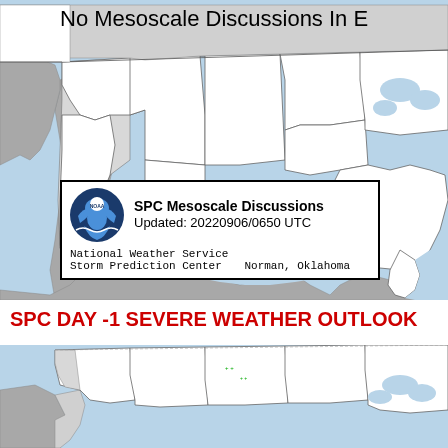[Figure (map): NOAA SPC Mesoscale Discussions map of the contiguous United States and surrounding regions showing no active mesoscale discussions. Light blue background (ocean/water), gray land masses for Mexico and land border areas, white for US states with black outlines.]
No Mesoscale Discussions In E
[Figure (infographic): NOAA logo with SPC Mesoscale Discussions info box showing: SPC Mesoscale Discussions, Updated: 20220906/0650 UTC, National Weather Service Storm Prediction Center, Norman, Oklahoma]
SPC DAY -1 SEVERE WEATHER OUTLOOK
[Figure (map): SPC Day -1 Severe Weather Outlook map of the contiguous United States showing no severe weather areas highlighted. Light blue background (ocean/water), gray land masses, white US states with black outlines. Small green text markers visible in northern region.]